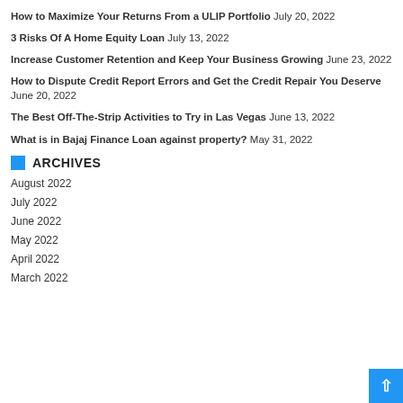How to Maximize Your Returns From a ULIP Portfolio July 20, 2022
3 Risks Of A Home Equity Loan July 13, 2022
Increase Customer Retention and Keep Your Business Growing June 23, 2022
How to Dispute Credit Report Errors and Get the Credit Repair You Deserve June 20, 2022
The Best Off-The-Strip Activities to Try in Las Vegas June 13, 2022
What is in Bajaj Finance Loan against property? May 31, 2022
ARCHIVES
August 2022
July 2022
June 2022
May 2022
April 2022
March 2022